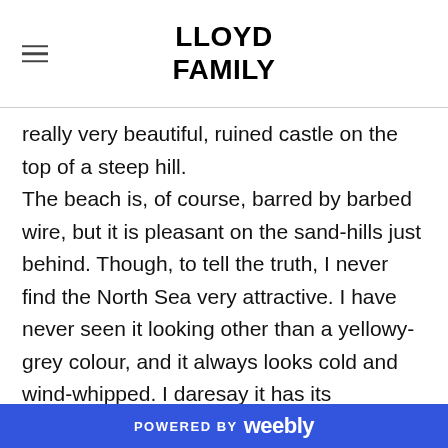LLOYD FAMILY
really very beautiful, ruined castle on the top of a steep hill. The beach is, of course, barred by barbed wire, but it is pleasant on the sand-hills just behind. Though, to tell the truth, I never find the North Sea very attractive. I have never seen it looking other than a yellowy-grey colour, and it always looks cold and wind-whipped. I daresay it has its moments, but I haven't been there then. You can see the sea in the distance in the enclosed
POWERED BY weebly